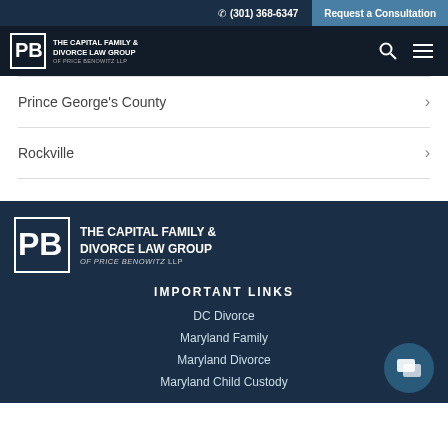(301) 368-6347 | Request a Consultation
[Figure (logo): The Capital Family & Divorce Law Group of Price Benowitz LLP logo in navigation bar]
Prince George's County
Rockville
[Figure (logo): The Capital Family & Divorce Law Group of Price Benowitz LLP footer logo]
IMPORTANT LINKS
DC Divorce
Maryland Family
Maryland Divorce
Maryland Child Custody